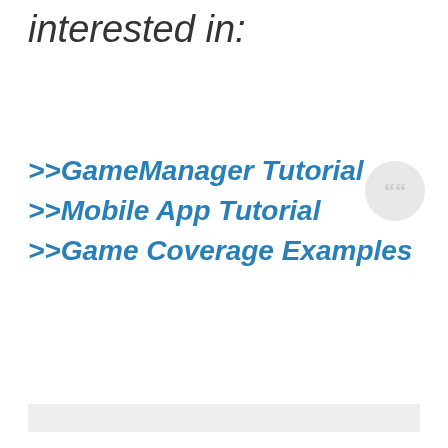interested in:
>>GameManager Tutorial
>>Mobile App Tutorial
>>Game Coverage Examples